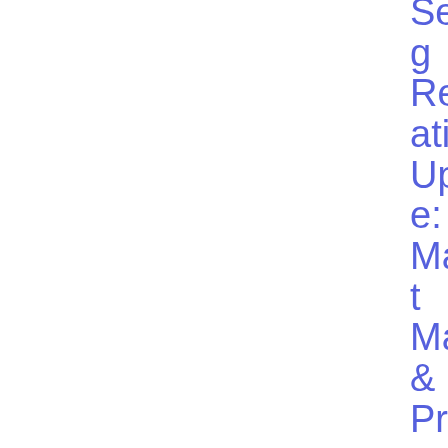[Figure (screenshot): Navigation button labeled 'Releases' with white text on dark navy/indigo background]
Setting Regulation Update: Market Maker & Primary Dealer Exemption Notification Procedure